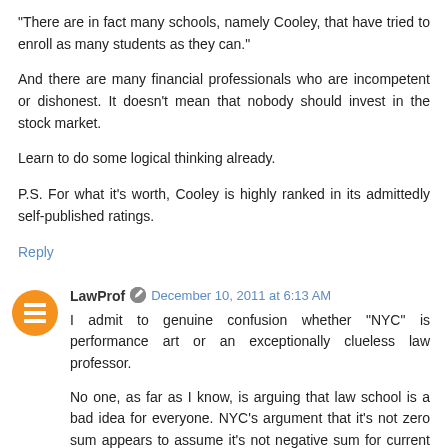"There are in fact many schools, namely Cooley, that have tried to enroll as many students as they can."
And there are many financial professionals who are incompetent or dishonest. It doesn't mean that nobody should invest in the stock market.
Learn to do some logical thinking already.
P.S. For what it's worth, Cooley is highly ranked in its admittedly self-published ratings.
Reply
LawProf December 10, 2011 at 6:13 AM
I admit to genuine confusion whether "NYC" is performance art or an exceptionally clueless law professor.
No one, as far as I know, is arguing that law school is a bad idea for everyone. NYC's argument that it's not zero sum appears to assume it's not negative sum for current law